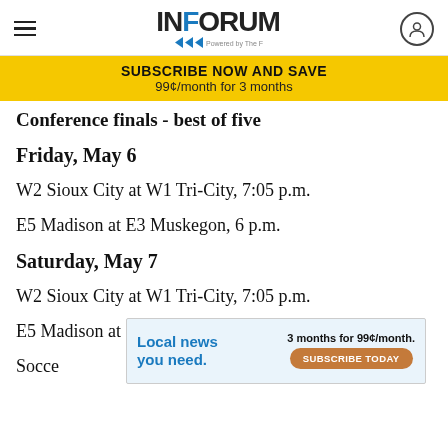INFORUM - Powered by The Forum and WDAY
SUBSCRIBE NOW AND SAVE
99¢/month for 3 months
Conference finals - best of five
Friday, May 6
W2 Sioux City at W1 Tri-City, 7:05 p.m.
E5 Madison at E3 Muskegon, 6 p.m.
Saturday, May 7
W2 Sioux City at W1 Tri-City, 7:05 p.m.
E5 Madison at E3 Muskegon, 6 p.m.
Socce
[Figure (infographic): Advertisement banner: Local news you need. 3 months for 99¢/month. SUBSCRIBE TODAY button.]